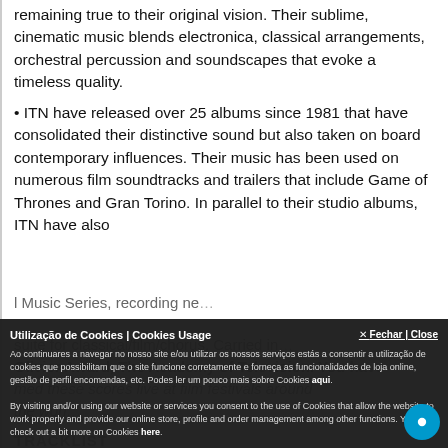remaining true to their original vision. Their sublime, cinematic music blends electronica, classical arrangements, orchestral percussion and soundscapes that evoke a timeless quality.
• ITN have released over 25 albums since 1981 that have consolidated their distinctive sound but also taken on board contemporary influences. Their music has been used on numerous film soundtracks and trailers that include Game of Thrones and Gran Torino. In parallel to their studio albums, ITN have also
l Music Series, recording ne...
suite for classical/piano/chorus. Carried in...
Olivier Award, The Academy of Television. You have
med these scores live at film festivals around
the worl...
TRACKLIST
Utilização de Cookies | Cookies Usage

Ao continuares a navegar no nosso site e/ou utilizar os nossos serviços estás a consentir a utilização de cookies que possibilitam que o site funcione corretamente e forneça as funcionalidades de loja online, gestão de perfil encomendas, etc. Podes ler um pouco mais sobre Cookies aqui.

By visiting and/or using our website or services you consent to the use of Cookies that allow the website to work properly and provide our online store, profile and order management among other functions. You can check out a bit more on Cookies here.